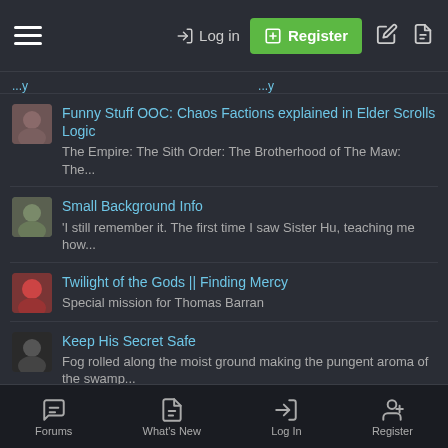Log in | Register
Funny Stuff OOC: Chaos Factions explained in Elder Scrolls Logic — The Empire: The Sith Order: The Brotherhood of The Maw: The...
Small Background Info — 'I still remember it. The first time I saw Sister Hu, teaching me how...
Twilight of the Gods || Finding Mercy — Special mission for Thomas Barran
Keep His Secret Safe — Fog rolled along the moist ground making the pungent aroma of the swamp...
More From Danger Arceneau
SSB Auctions: Mystery Auction is now LIVE — This auction will run for 48 hours only. This auction will close at 11...
SSB Auctions: Aurora Industries, Incom, CEC, ATC — This auction will run for 48 hours only. This auction will close at 10...
Forums | What's New | Log In | Register